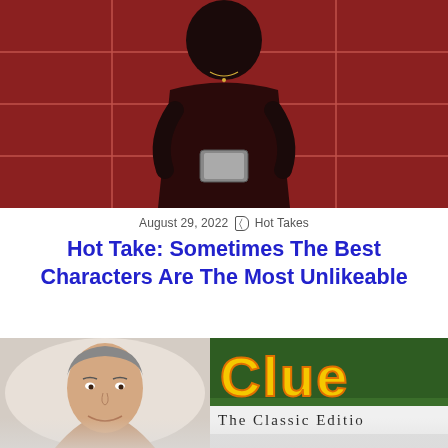[Figure (photo): Person taking a mirror selfie in a bathroom with red tile walls, holding a phone, wearing dark clothing.]
August 29, 2022  Hot Takes
Hot Take: Sometimes The Best Characters Are The Most Unlikeable
[Figure (photo): Left: headshot of a smiling middle-aged man with grey hair. Right: Clue board game box showing 'Clue' in yellow letters on green background and 'The Classic Edition' text.]